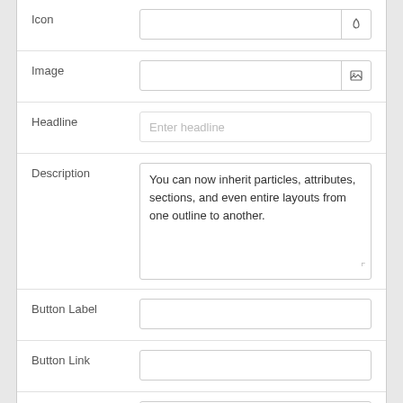Icon
Image
Headline
Description
You can now inherit particles, attributes, sections, and even entire layouts from one outline to another.
Button Label
Button Link
Button Classes
Target
Self
Content Items
New item
New item